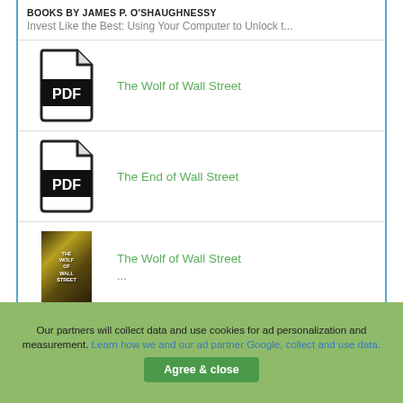BOOKS BY JAMES P. O'SHAUGHNESSY
Invest Like the Best: Using Your Computer to Unlock t...
The Wolf of Wall Street
The End of Wall Street
The Wolf of Wall Street
...
Our partners will collect data and use cookies for ad personalization and measurement. Learn how we and our ad partner Google, collect and use data. Agree & close